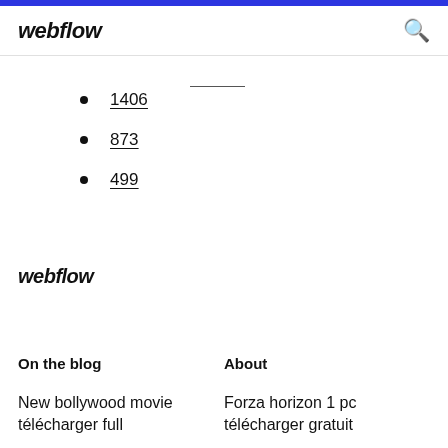webflow
1406
873
499
webflow
On the blog
About
New bollywood movie télécharger full
Forza horizon 1 pc télécharger gratuit